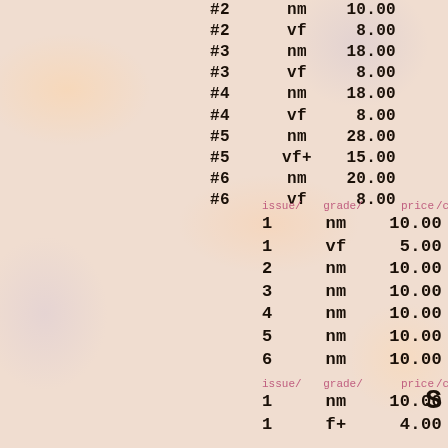| issue/ | grade/ | price | /comment |
| --- | --- | --- | --- |
| #2 | nm | 10.00 |
| #2 | vf | 8.00 |
| #3 | nm | 18.00 |
| #3 | vf | 8.00 |
| #4 | nm | 18.00 |
| #4 | vf | 8.00 |
| #5 | nm | 28.00 |
| #5 | vf+ | 15.00 |
| #6 | nm | 20.00 |
| #6 | vf | 8.00 |
| issue/ | grade/ | price | /comment |
| --- | --- | --- | --- |
| 1 | nm | 10.00 |
| 1 | vf | 5.00 |
| 2 | nm | 10.00 |
| 3 | nm | 10.00 |
| 4 | nm | 10.00 |
| 5 | nm | 10.00 |
| 6 | nm | 10.00 |
| issue/ | grade/ | price | /comment |
| --- | --- | --- | --- |
| 1 | nm | 10.00 |
| 1 | f+ | 4.00 |